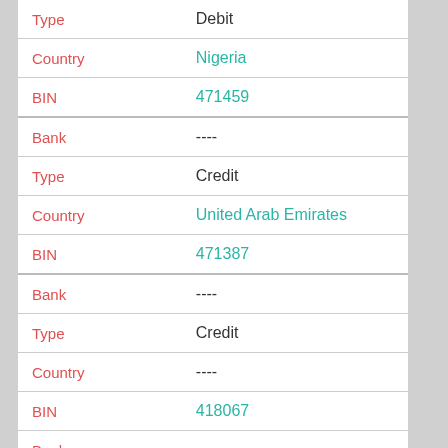| Field | Value |
| --- | --- |
| Type | Debit |
| Country | Nigeria |
| BIN | 471459 |
| Bank | ---- |
| Type | Credit |
| Country | United Arab Emirates |
| BIN | 471387 |
| Bank | ---- |
| Type | Credit |
| Country | ---- |
| BIN | 418067 |
| Bank | ---- |